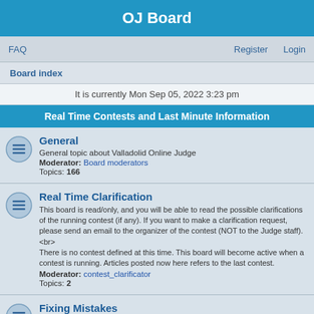OJ Board
FAQ   Register   Login
Board index
It is currently Mon Sep 05, 2022 3:23 pm
Real Time Contests and Last Minute Information
General
General topic about Valladolid Online Judge
Moderator: Board moderators
Topics: 166
Real Time Clarification
This board is read/only, and you will be able to read the possible clarifications of the running contest (if any). If you want to make a clarification request, please send an email to the organizer of the contest (NOT to the Judge staff).
<br>
There is no contest defined at this time. This board will become active when a contest is running. Articles posted now here refers to the last contest.
Moderator: contest_clarificator
Topics: 2
Fixing Mistakes
Here you'll find the latest Fixing Mistakes notices
Moderator: Carlos
Topics: 443
HOWTOs
HOWTOs